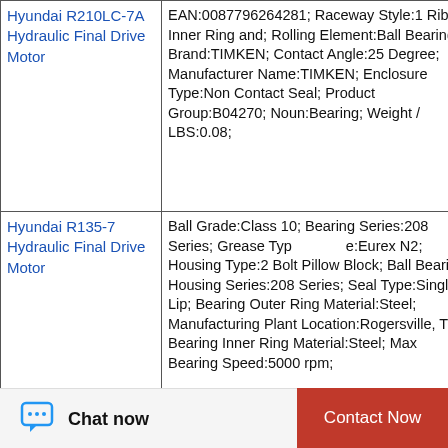| Product | Specifications |
| --- | --- |
| Hyundai R210LC-7A Hydraulic Final Drive Motor | EAN:0087796264281; Raceway Style:1 Rib Inner Ring and; Rolling Element:Ball Bearing; Brand:TIMKEN; Contact Angle:25 Degree; Manufacturer Name:TIMKEN; Enclosure Type:Non Contact Seal; Product Group:B04270; Noun:Bearing; Weight / LBS:0.08; |
| Hyundai R135-7 Hydraulic Final Drive Motor | Ball Grade:Class 10; Bearing Series:208 Series; Grease Type:Eurex N2; Housing Type:2 Bolt Pillow Block; Ball Bearing Housing Series:208 Series; Seal Type:Single Lip; Bearing Outer Ring Material:Steel; Manufacturing Plant Location:Rogersville, TN; Bearing Inner Ring Material:Steel; Max Bearing Speed:5000 rpm; |
[Figure (other): WhatsApp Online chat button overlay in green circle]
Chat now   Contact Now